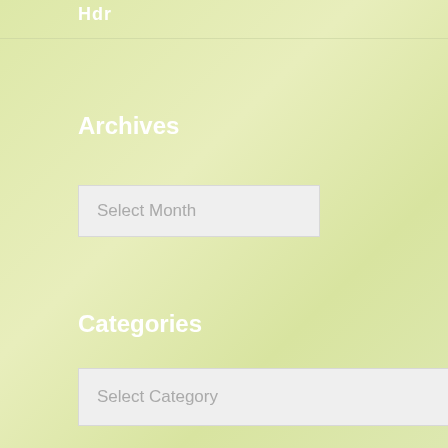Hdr
Archives
Select Month
Categories
Select Category